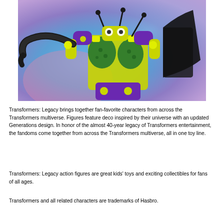[Figure (photo): Close-up photo of a Transformers action figure with yellow, green, purple, and black coloring, featuring insect-like design elements including antennae and compound eyes, photographed against a blue background.]
Transformers: Legacy brings together fan-favorite characters from across the Transformers multiverse. Figures feature deco inspired by their universe with an updated Generations design. In honor of the almost 40-year legacy of Transformers entertainment, the fandoms come together from across the Transformers multiverse, all in one toy line.
Transformers: Legacy action figures are great kids' toys and exciting collectibles for fans of all ages.
Transformers and all related characters are trademarks of Hasbro.